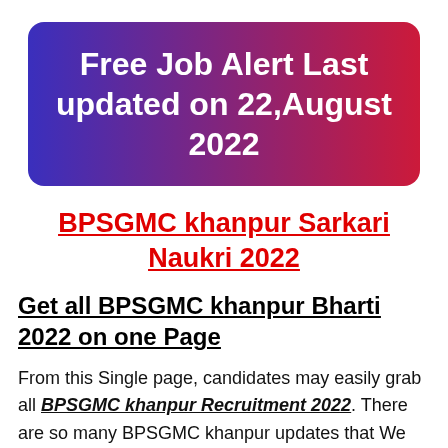[Figure (infographic): Gradient banner (blue to red) with white bold text reading: Free Job Alert Last updated on 22,August 2022]
BPSGMC khanpur Sarkari Naukri 2022
Get all BPSGMC khanpur Bharti 2022 on one Page
From this Single page, candidates may easily grab all BPSGMC khanpur Recruitment 2022. There are so many BPSGMC khanpur updates that We...